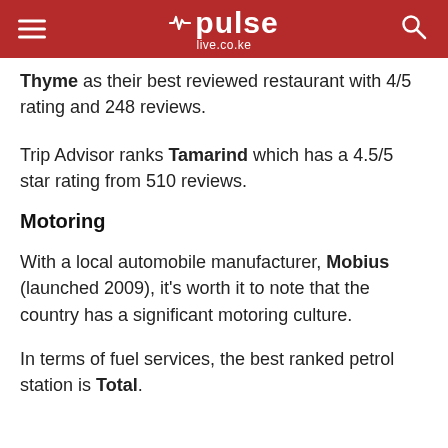pulse live.co.ke
Thyme as their best reviewed restaurant with 4/5 rating and 248 reviews.
Trip Advisor ranks Tamarind which has a 4.5/5 star rating from 510 reviews.
Motoring
With a local automobile manufacturer, Mobius (launched 2009), it's worth it to note that the country has a significant motoring culture.
In terms of fuel services, the best ranked petrol station is Total.